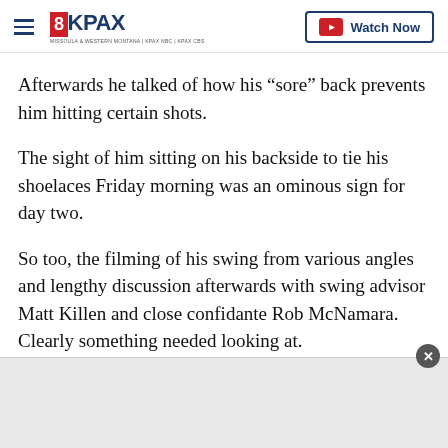8KPAX | Watch Now
Afterwards he talked of how his “sore” back prevents him hitting certain shots.
The sight of him sitting on his backside to tie his shoelaces Friday morning was an ominous sign for day two.
So too, the filming of his swing from various angles and lengthy discussion afterwards with swing advisor Matt Killen and close confidante Rob McNamara. Clearly something needed looking at.
[Figure (other): Advertisement banner area at the bottom of the page with a close button]